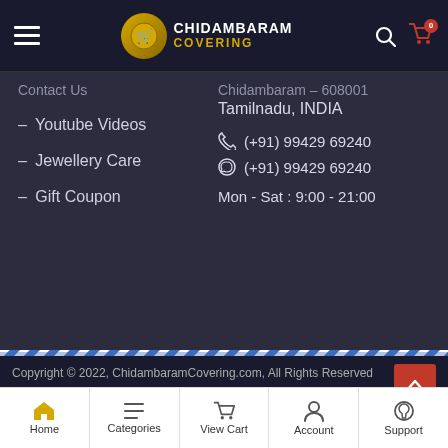[Figure (logo): Chidambaram Covering logo with golden circle and cart icon]
Contact Us
– Youtube Videos
– Jewellery Care
– Gift Coupon
Chidambaram – 608001
Tamilnadu, INDIA
(+91) 99429 69240
(+91) 99429 69240
Mon - Sat : 9:00 - 21:00
NEED HELP
Support: (+91) 9942969240
Email us
Find us on Google Maps
Copyright © 2022, ChidambaramCovering.com, All Rights Reserved
Home | Categories | View Cart | Account | Support